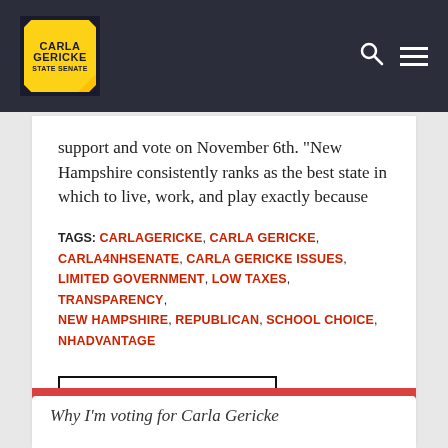[Figure (logo): Carla Gericke State Senate logo with yellow diamond shape on dark navy header with search and menu icons]
support and vote on November 6th. "New Hampshire consistently ranks as the best state in which to live, work, and play exactly because
TAGS: CARLAGERICKE, CARLA GERICKE, CARLA4NHSENATE, CARLA GERICKE ISSUES, LIMITED GOVERNMENT, LOW TAXES, TRANSPARENCY, NEW HAMPSHIRE, REPUBLICAN, SCHOOL CHOICE, NHADVANTAGE
READ MORE
Why I'm voting for Carla Gericke